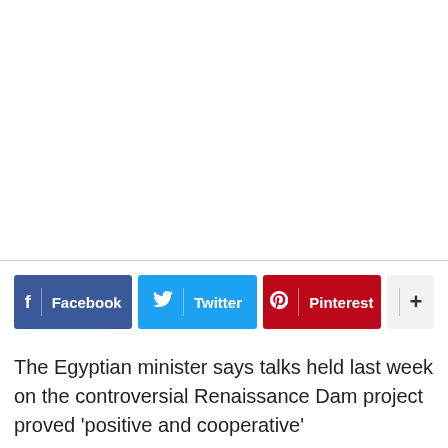[Figure (other): Blank white space area at top of page]
[Figure (infographic): Social sharing buttons row: Facebook (blue), Twitter (cyan), Pinterest (red), and a plus/more button (light gray)]
The Egyptian minister says talks held last week on the controversial Renaissance Dam project proved ‘positive and cooperative’